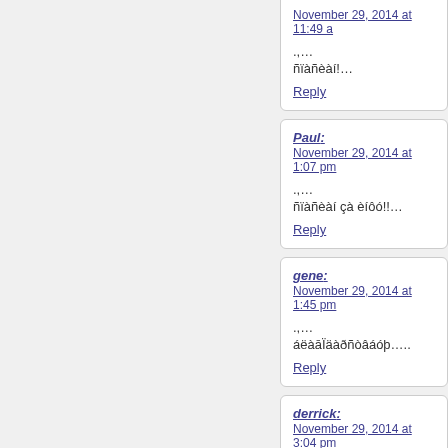November 29, 2014 at 11:49 am
.,…
ñïàñèàí!…
Reply
Paul:
November 29, 2014 at 1:07 pm
.,…
ñïàñèàí çà èíôó!!…
Reply
gene:
November 29, 2014 at 1:45 pm
.,…
áëàāÏäàðñòâáóþ….
Reply
derrick:
November 29, 2014 at 3:04 pm
.,…
ñïñ!…
Reply